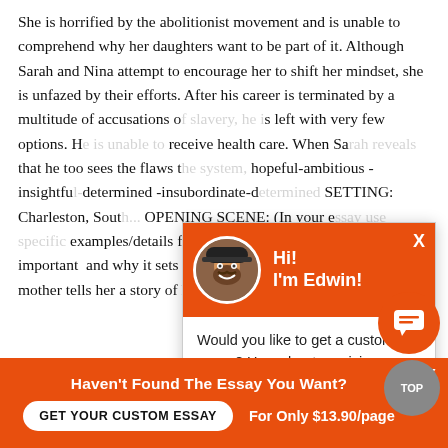She is horrified by the abolitionist movement and is unable to comprehend why her daughters want to be part of it. Although Sarah and Nina attempt to encourage her to shift her mindset, she is unfazed by their efforts. After his career is terminated by a multitude of accusations of slavery, he is left with very few options. He is unable to receive health care. When Sarah reveals that he too sees the flaws the system, hopeful-ambitious -insightful-determined -insubordinate-determined SETTING: Charleston, South... OPENING SCENE: (In your essay use specific examples/details from the novel) The opening scene is important and why it sets the novel into action. In the beginning mother tells her a story of how the people in Africa cou...nd
[Figure (other): Chat popup widget with orange header showing avatar photo and 'Hi! I'm Edwin!' text, and body with custom essay offer and 'Check it out' link]
Haven't Found The Essay You Want?
GET YOUR CUSTOM ESSAY    For Only $13.90/page